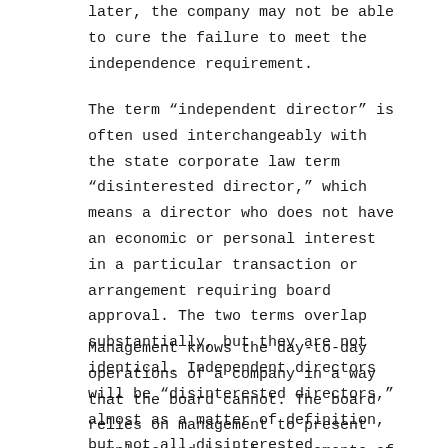later, the company may not be able to cure the failure to meet the independence requirement.
The term “independent director” is often used interchangeably with the state corporate law term “disinterested director,” which means a director who does not have an economic or personal interest in a particular transaction or arrangement requiring board approval. The two terms overlap substantially, but they are not identical. Independent directors will be “disinterested directors,” almost as a matter of definition, but not all disinterested directors will be independent. For example, it would be possible for the CEO, as a nonindependent director, to be a “disinterested director” and to vote on a transaction in which another director had a financial or personal interest.
Management knows the day-to-day operations of a company in a way that the board cannot. The board relies on management to present complete and honest assessments of company performance in order to fulfill the board’s oversight duties. The board must ensure that it has processes to ensure